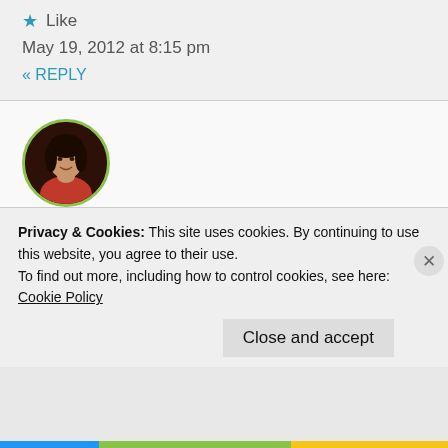★ Like
May 19, 2012 at 8:15 pm
« REPLY
[Figure (photo): Circular avatar photo of a woman in a red top, framed with a green border circle]
cookingsgood says:
Another totally awesome post. These muffins look fantastic. Your Mom and Grandma are very lucky to have you and you are equally lucky to have
Privacy & Cookies: This site uses cookies. By continuing to use this website, you agree to their use.
To find out more, including how to control cookies, see here:
Cookie Policy
Close and accept